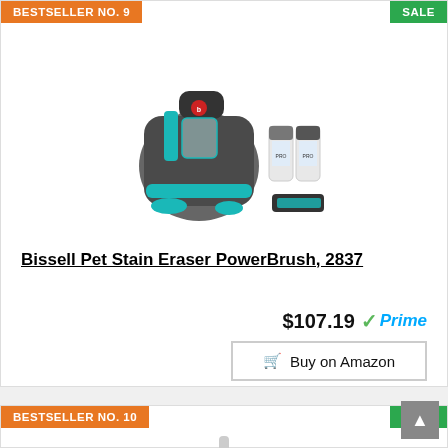BESTSELLER NO. 9
SALE
[Figure (photo): Bissell Pet Stain Eraser PowerBrush 2837 portable carpet cleaner with cleaning solution bottles and accessories]
Bissell Pet Stain Eraser PowerBrush, 2837
$107.19 Prime
Buy on Amazon
BESTSELLER NO. 10
SALE
[Figure (photo): Second product image partially visible]